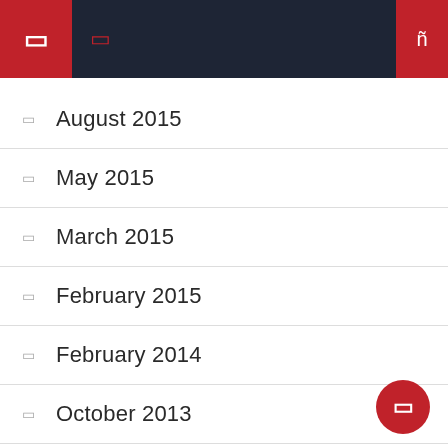Navigation header with menu and search icons
August 2015
May 2015
March 2015
February 2015
February 2014
October 2013
April 2013
December 2012
January 2012